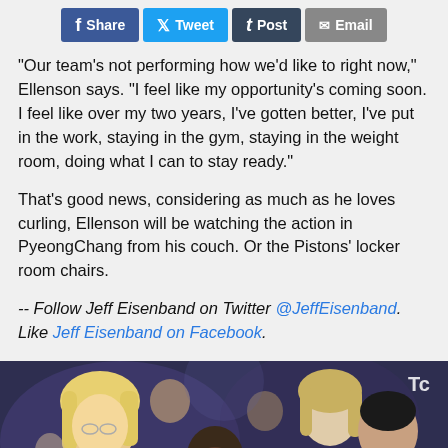[Figure (other): Social media share buttons: Facebook Share, Twitter Tweet, Tumblr Post, Email]
"Our team's not performing how we'd like to right now," Ellenson says. "I feel like my opportunity's coming soon. I feel like over my two years, I've gotten better, I've put in the work, staying in the gym, staying in the weight room, doing what I can to stay ready."
That's good news, considering as much as he loves curling, Ellenson will be watching the action in PyeongChang from his couch. Or the Pistons' locker room chairs.
-- Follow Jeff Eisenband on Twitter @JeffEisenband. Like Jeff Eisenband on Facebook.
[Figure (photo): Photo of a crowd of people, including blonde women and men, appearing to be at a sporting event or ceremony.]